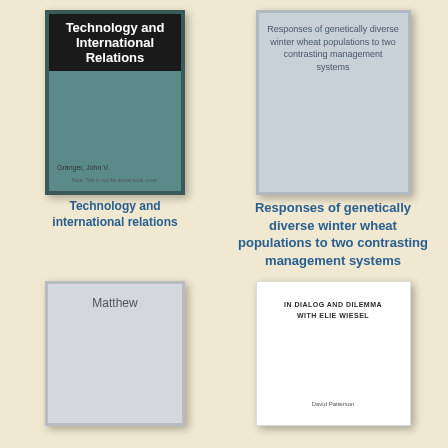[Figure (illustration): Book cover for 'Technology and International Relations' by Granger, John V. Teal/green cover with black header area containing white bold title text.]
Technology and international relations
[Figure (illustration): Book cover for 'Responses of genetically diverse winter wheat populations to two contrasting management systems'. Gray cover with centered text.]
Responses of genetically diverse winter wheat populations to two contrasting management systems
[Figure (illustration): Book cover for 'Matthew'. Light gray cover with title text.]
[Figure (illustration): Book cover for 'In Dialog and Dilemma with Elie Wiesel' by David Patterson. White cover with uppercase serif title.]